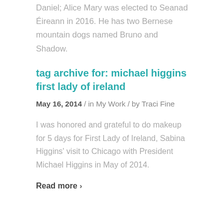Daniel; Alice Mary was elected to Seanad Éireann in 2016. He has two Bernese mountain dogs named Bruno and Shadow.
tag archive for: michael higgins first lady of ireland
May 16, 2014 / in My Work / by Traci Fine
I was honored and grateful to do makeup for 5 days for First Lady of Ireland, Sabina Higgins' visit to Chicago with President Michael Higgins in May of 2014.
Read more >